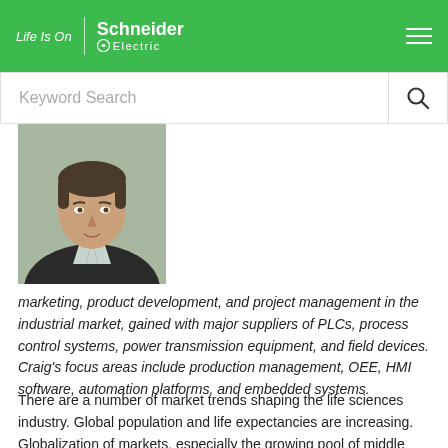Life Is On | Schneider Electric
[Figure (photo): Keyword Search bar with search icon]
[Figure (photo): Headshot of a man in a dark suit with a light shirt, grey background]
marketing, product development, and project management in the industrial market, gained with major suppliers of PLCs, process control systems, power transmission equipment, and field devices. Craig's focus areas include production management, OEE, HMI software, automation platforms, and embedded systems.
There are a number of market trends shaping the life sciences industry. Global population and life expectancies are increasing. Globalization of markets, especially the growing pool of middle class consumers in emerging economies, provides an increasing revenue base for large life sciences companies, but also creates the challenge of dealing with multiple global regulatory